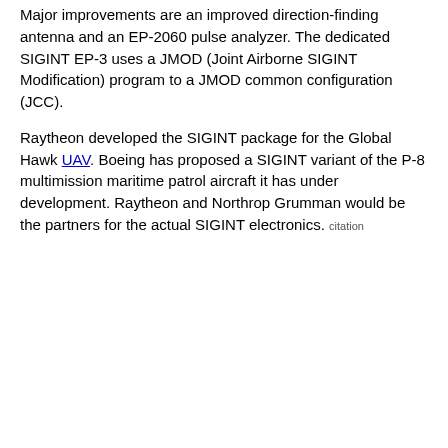Major improvements are an improved direction-finding antenna and an EP-2060 pulse analyzer. The dedicated SIGINT EP-3 uses a JMOD (Joint Airborne SIGINT Modification) program to a JMOD common configuration (JCC).
Raytheon developed the SIGINT package for the Global Hawk UAV. Boeing has proposed a SIGINT variant of the P-8 multimission maritime patrol aircraft it has under development. Raytheon and Northrop Grumman would be the partners for the actual SIGINT electronics. citation